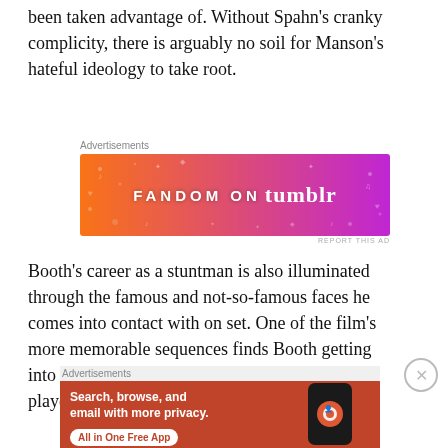been taken advantage of. Without Spahn's cranky complicity, there is arguably no soil for Manson's hateful ideology to take root.
[Figure (other): Fandom on Tumblr advertisement banner with colorful orange-to-purple gradient background and decorative music note doodles.]
Booth's career as a stuntman is also illuminated through the famous and not-so-famous faces he comes into contact with on set. One of the film's more memorable sequences finds Booth getting into a scrap with none other than Bruce Lee— played by a conflicted Mike Moh as
[Figure (other): DuckDuckGo advertisement banner with orange background. Text: 'Search, browse, and email with more privacy. All in One Free App'. Shows a phone with DuckDuckGo logo.]